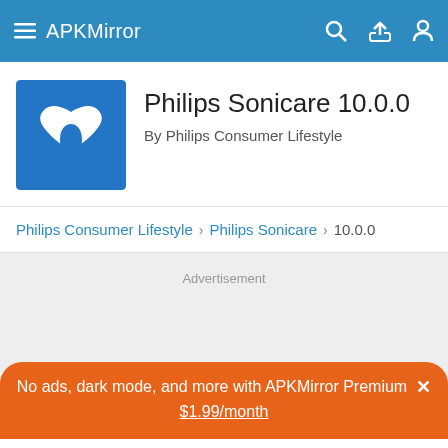APKMirror
Philips Sonicare 10.0.0
By Philips Consumer Lifestyle
Philips Consumer Lifestyle > Philips Sonicare > 10.0.0
Advertisement
No ads, dark mode, and more with APKMirror Premium × $1.99/month